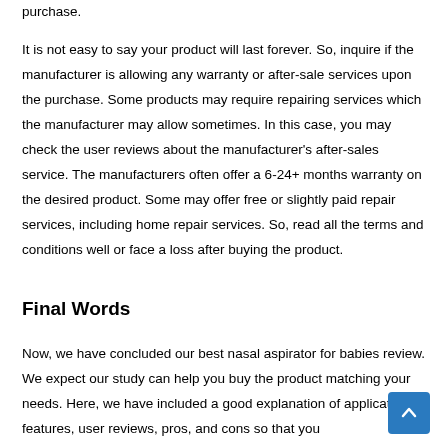purchase.
It is not easy to say your product will last forever. So, inquire if the manufacturer is allowing any warranty or after-sale services upon the purchase. Some products may require repairing services which the manufacturer may allow sometimes. In this case, you may check the user reviews about the manufacturer's after-sales service. The manufacturers often offer a 6-24+ months warranty on the desired product. Some may offer free or slightly paid repair services, including home repair services. So, read all the terms and conditions well or face a loss after buying the product.
Final Words
Now, we have concluded our best nasal aspirator for babies review. We expect our study can help you buy the product matching your needs. Here, we have included a good explanation of applications, features, user reviews, pros, and cons so that you